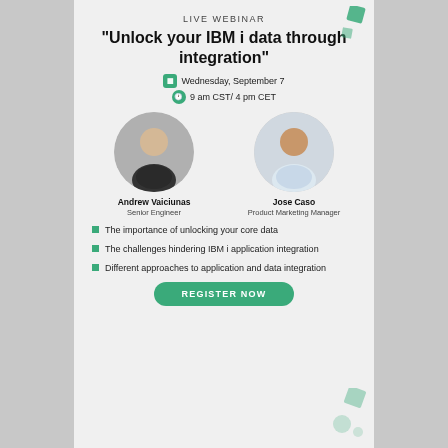LIVE WEBINAR
"Unlock your IBM i data through integration"
Wednesday, September 7
9 am CST/ 4 pm CET
[Figure (photo): Circular headshot of Andrew Vaiciunas, a middle-aged person with light hair]
Andrew Vaiciunas
Senior Engineer
[Figure (photo): Circular headshot of Jose Caso, a young man smiling]
Jose Caso
Product Marketing Manager
The importance of unlocking your core data
The challenges hindering IBM i application integration
Different approaches to application and data integration
REGISTER NOW